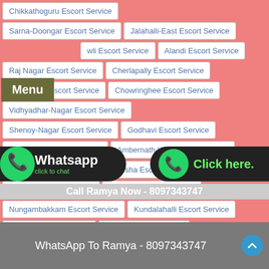Chikkathoguru Escort Service
Sarna-Doongar Escort Service
Jalahalli-East Escort Service
wli Escort Service
Alandi Escort Service
Raj Nagar Escort Service
Cherlapally Escort Service
Umerkhadi Escort Service
Chowringhee Escort Service
Vidhyadhar-Nagar Escort Service
Shenoy-Nagar Escort Service
Godhavi Escort Service
Bhaginghar Escort Service
Ambernath-West Escort Service
Madwana Escort Service
Barisha Escort Service
Ambattur Escort Service
Basapura Escort Service
Nungambakkam Escort Service
Kundalahalli Escort Service
Soarpur Escort Service
Kalyani Escort Service
Call Ramya Now - 8097343747
WhatsApp To Ramya - 8097343747